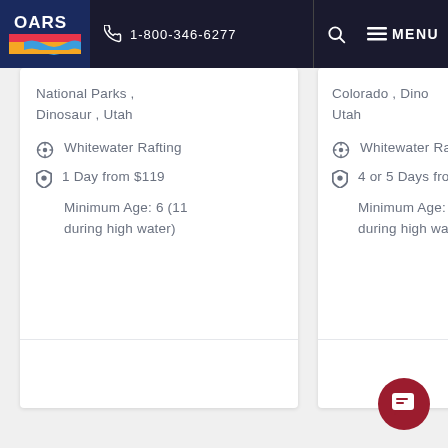OARS | 1-800-346-6277 | MENU
National Parks , Dinosaur , Utah
Whitewater Rafting
1 Day from $119
Minimum Age: 6 (11 during high water)
Colorado , Dinosaur , Utah
Whitewater Rafting
4 or 5 Days from…
Minimum Age: … during high water…